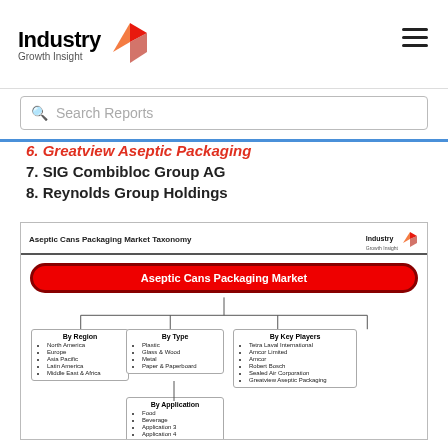Industry Growth Insight
Search Reports
6. Greatview Aseptic Packaging
7. SIG Combibloc Group AG
8. Reynolds Group Holdings
[Figure (organizational-chart): Aseptic Cans Packaging Market Taxonomy diagram showing market segmentation into By Region (North America, Europe, Asia Pacific, Latin America, Middle East & Africa), By Type (Plastic, Glass & Wood, Metal, Paper & Paperboard), By Application (Food, Beverage, Application 3, Application 4), and By Key Players (Tetra Laval International, Amcor Limited, Amcor, Robert Bosch, Sealed Air Corporation, Greatview Aseptic Packaging)]